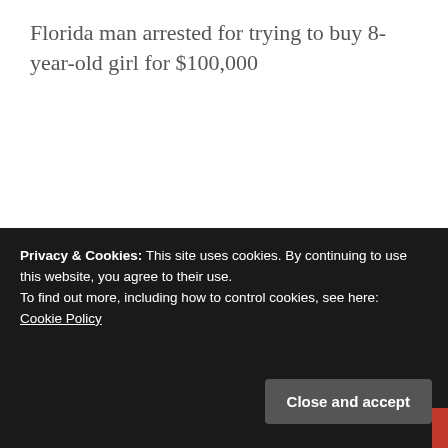Florida man arrested for trying to buy 8-year-old girl for $100,000
[Figure (other): Search bar with text input area and red SEARCH button]
BLOGROLL
Privacy & Cookies: This site uses cookies. By continuing to use this website, you agree to their use.
To find out more, including how to control cookies, see here: Cookie Policy
Close and accept